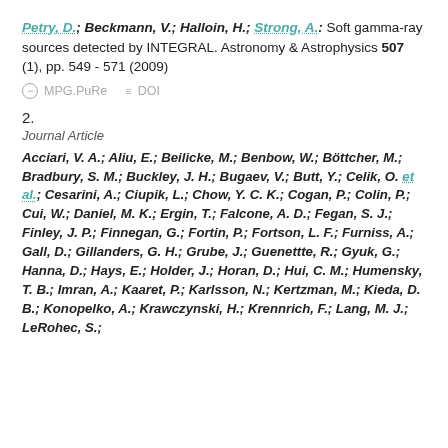Petry, D.; Beckmann, V.; Halloin, H.; Strong, A.: Soft gamma-ray sources detected by INTEGRAL. Astronomy & Astrophysics 507 (1), pp. 549 - 571 (2009)
MPG.PuRe   DOI
2.
Journal Article
Acciari, V. A.; Aliu, E.; Beilicke, M.; Benbow, W.; Böttcher, M.; Bradbury, S. M.; Buckley, J. H.; Bugaev, V.; Butt, Y.; Celik, O. et al.; Cesarini, A.; Ciupik, L.; Chow, Y. C. K.; Cogan, P.; Colin, P.; Cui, W.; Daniel, M. K.; Ergin, T.; Falcone, A. D.; Fegan, S. J.; Finley, J. P.; Finnegan, G.; Fortin, P.; Fortson, L. F.; Furniss, A.; Gall, D.; Gillanders, G. H.; Grube, J.; Guenettte, R.; Gyuk, G.; Hanna, D.; Hays, E.; Holder, J.; Horan, D.; Hui, C. M.; Humensky, T. B.; Imran, A.; Kaaret, P.; Karlsson, N.; Kertzman, M.; Kieda, D. B.; Konopelko, A.; Krawczynski, H.; Krennrich, F.; Lang, M. J.; LeRohec, S.;